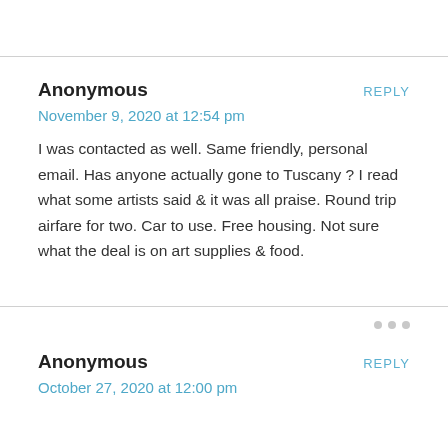Anonymous
REPLY
November 9, 2020 at 12:54 pm
I was contacted as well. Same friendly, personal email. Has anyone actually gone to Tuscany ? I read what some artists said & it was all praise. Round trip airfare for two. Car to use. Free housing. Not sure what the deal is on art supplies & food.
Anonymous
REPLY
October 27, 2020 at 12:00 pm